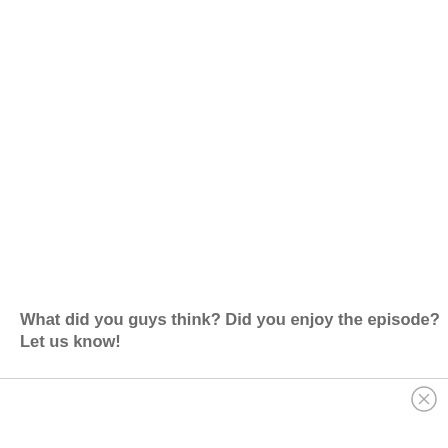What did you guys think? Did you enjoy the episode? Let us know!